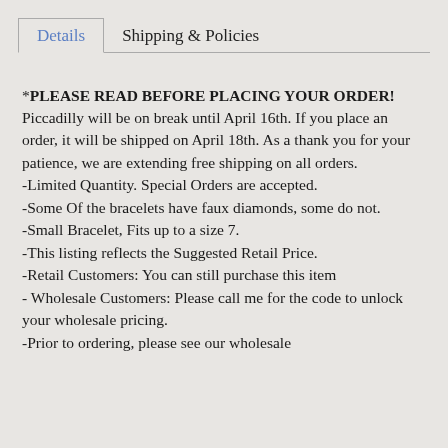Details | Shipping & Policies
*PLEASE READ BEFORE PLACING YOUR ORDER! Piccadilly will be on break until April 16th. If you place an order, it will be shipped on April 18th. As a thank you for your patience, we are extending free shipping on all orders.
-Limited Quantity. Special Orders are accepted.
-Some Of the bracelets have faux diamonds, some do not.
-Small Bracelet, Fits up to a size 7.
-This listing reflects the Suggested Retail Price.
-Retail Customers: You can still purchase this item
- Wholesale Customers: Please call me for the code to unlock your wholesale pricing.
-Prior to ordering, please see our wholesale